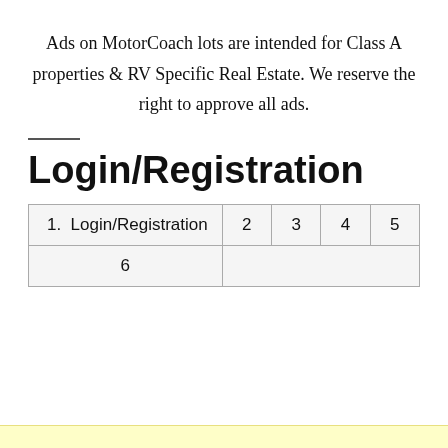Ads on MotorCoach lots are intended for Class A properties & RV Specific Real Estate. We reserve the right to approve all ads.
Login/Registration
| 1.  Login/Registration | 2 | 3 | 4 | 5 |
| 6 |  |  |  |  |